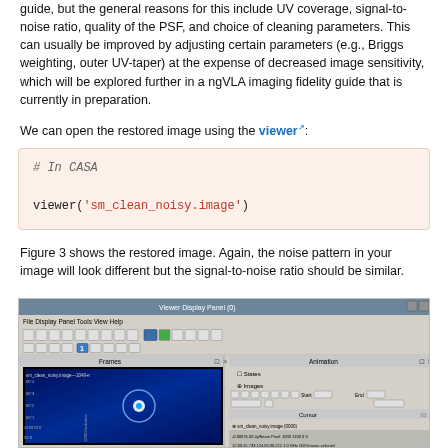guide, but the general reasons for this include UV coverage, signal-to-noise ratio, quality of the PSF, and choice of cleaning parameters. This can usually be improved by adjusting certain parameters (e.g., Briggs weighting, outer UV-taper) at the expense of decreased image sensitivity, which will be explored further in a ngVLA imaging fidelity guide that is currently in preparation.
We can open the restored image using the viewer:
# In CASA

viewer('sm_clean_noisy.image')
Figure 3 shows the restored image. Again, the noise pattern in your image will look different but the signal-to-noise ratio should be similar.
[Figure (screenshot): CASA Viewer Display Panel showing a radio astronomy image of sm_clean_noisy.image with a bright circular source on a blue background with noise, alongside panel controls for Frames, Animation, Cursor, and Report sections.]